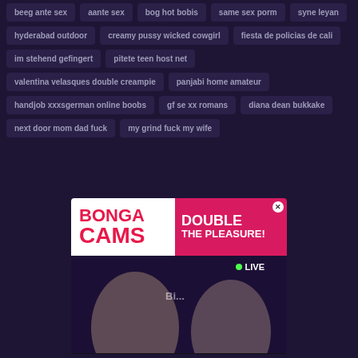beeg ante sex
aante sex
bog hot bobis
same sex porm
syne leyan
hyderabad outdoor
creamy pussy wicked cowgirl
fiesta de policias de cali
im stehend gefingert
pitete teen host net
valentina velasques double creampie
panjabi home amateur
handjob xxxsgerman online boobs
gf se xx romans
diana dean bukkake
next door mom dad fuck
my grind fuck my wife
[Figure (advertisement): BongaCams advertisement banner with 'BONGA CAMS' logo on white background and 'DOUBLE THE PLEASURE!' text on pink/magenta background, with a live cam preview image below showing two performers with a LIVE badge]